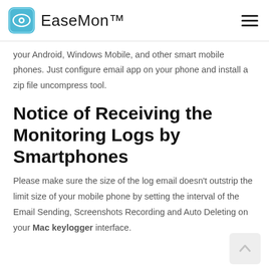EaseMon™
your Android, Windows Mobile, and other smart mobile phones. Just configure email app on your phone and install a zip file uncompress tool.
Notice of Receiving the Monitoring Logs by Smartphones
Please make sure the size of the log email doesn't outstrip the limit size of your mobile phone by setting the interval of the Email Sending, Screenshots Recording and Auto Deleting on your Mac keylogger interface.